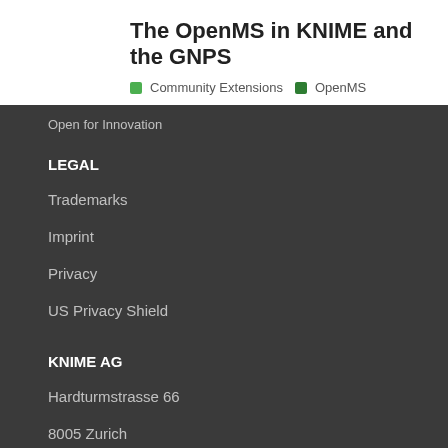The OpenMS in KNIME and the GNPS
Community Extensions  OpenMS
Open for Innovation
LEGAL
Trademarks
Imprint
Privacy
US Privacy Shield
KNIME AG
Hardturmstrasse 66
8005 Zurich
Switzerland